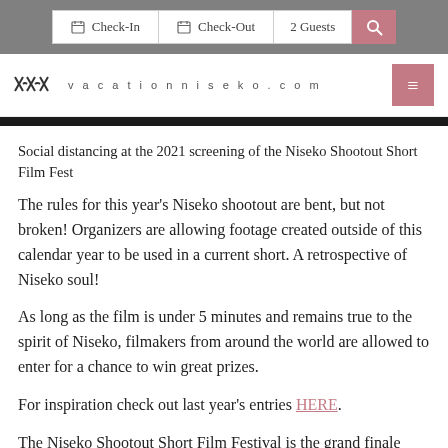Check-In  Check-Out  2 Guests  [search]
vacationniseko.com
Social distancing at the 2021 screening of the Niseko Shootout Short Film Fest
The rules for this year's Niseko shootout are bent, but not broken! Organizers are allowing footage created outside of this calendar year to be used in a current short. A retrospective of Niseko soul!
As long as the film is under 5 minutes and remains true to the spirit of Niseko, filmakers from around the world are allowed to enter for a chance to win great prizes.
For inspiration check out last year's entries HERE.
The Niseko Shootout Short Film Festival is the grand finale